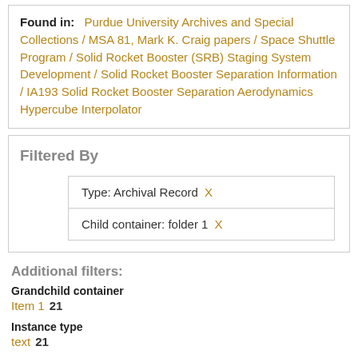Found in: Purdue University Archives and Special Collections / MSA 81, Mark K. Craig papers / Space Shuttle Program / Solid Rocket Booster (SRB) Staging System Development / Solid Rocket Booster Separation Information / IA193 Solid Rocket Booster Separation Aerodynamics Hypercube Interpolator
Filtered By
Type: Archival Record X
Child container: folder 1 X
Additional filters:
Grandchild container
Item 1   21
Instance type
text   21